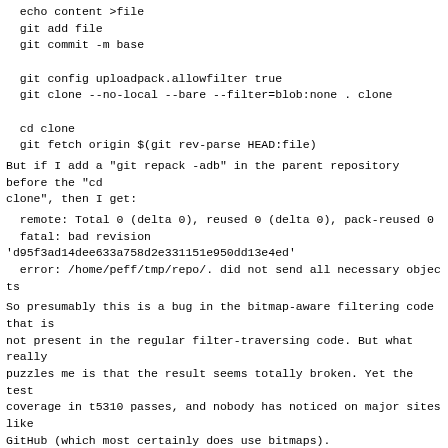echo content >file
  git add file
  git commit -m base

  git config uploadpack.allowfilter true
  git clone --no-local --bare --filter=blob:none . clone

  cd clone
  git fetch origin $(git rev-parse HEAD:file)
But if I add a "git repack -adb" in the parent repository before the "cd clone", then I get:
remote: Total 0 (delta 0), reused 0 (delta 0), pack-reused 0
  fatal: bad revision 'd95f3ad14dee633a758d2e331151e950dd13e4ed'
  error: /home/peff/tmp/repo/. did not send all necessary objects
So presumably this is a bug in the bitmap-aware filtering code that is not present in the regular filter-traversing code. But what really puzzles me is that the result seems totally broken. Yet the test coverage in t5310 passes, and nobody has noticed on major sites like GitHub (which most certainly does use bitmaps).